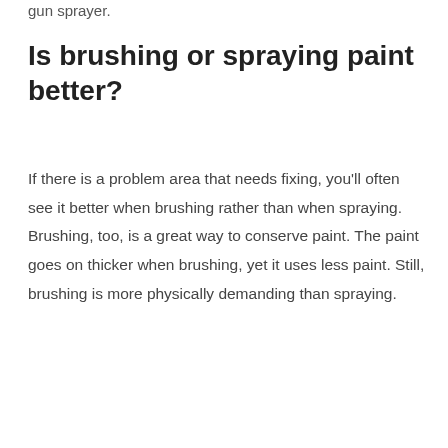gun sprayer.
Is brushing or spraying paint better?
If there is a problem area that needs fixing, you'll often see it better when brushing rather than when spraying. Brushing, too, is a great way to conserve paint. The paint goes on thicker when brushing, yet it uses less paint. Still, brushing is more physically demanding than spraying.